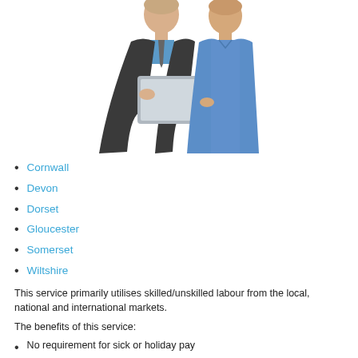[Figure (photo): Two men in business attire looking at a laptop/tablet computer together, smiling. One wears a dark suit with blue shirt and tie, the other wears a blue collared shirt.]
Cornwall
Devon
Dorset
Gloucester
Somerset
Wiltshire
This service primarily utilises skilled/unskilled labour from the local, national and international markets.
The benefits of this service:
No requirement for sick or holiday pay